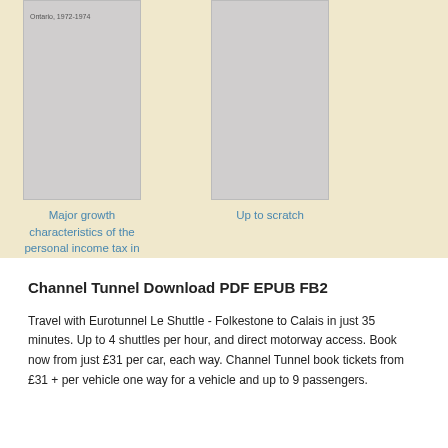[Figure (illustration): Book cover thumbnail with text 'Ontario, 1972-1974' at top, gray rectangle placeholder]
Major growth characteristics of the personal income tax in Ontario, 1972-1974
[Figure (illustration): Book cover thumbnail, gray rectangle placeholder]
Up to scratch
Channel Tunnel Download PDF EPUB FB2
Travel with Eurotunnel Le Shuttle - Folkestone to Calais in just 35 minutes. Up to 4 shuttles per hour, and direct motorway access. Book now from just £31 per car, each way. Channel Tunnel book tickets from £31 + per vehicle one way for a vehicle and up to 9 passengers.